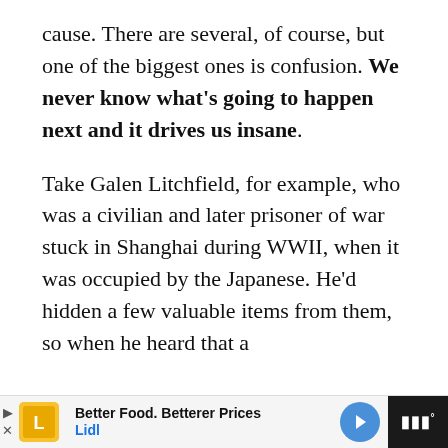cause. There are several, of course, but one of the biggest ones is confusion. We never know what's going to happen next and it drives us insane. Take Galen Litchfield, for example, who was a civilian and later prisoner of war stuck in Shanghai during WWII, when it was occupied by the Japanese. He'd hidden a few valuable items from them, so when he heard that a
[Figure (other): Advertisement banner for Lidl: 'Better Food. Betterer Prices' with Lidl logo and navigation arrow icon]